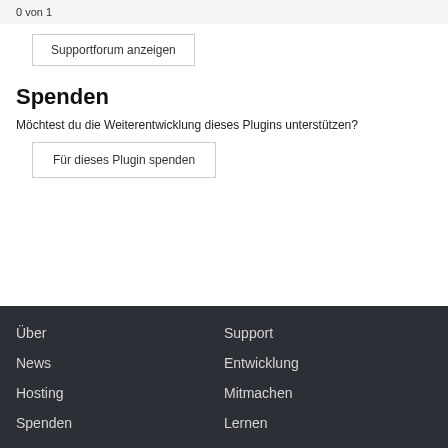0 von 1
Supportforum anzeigen
Spenden
Möchtest du die Weiterentwicklung dieses Plugins unterstützen?
Für dieses Plugin spenden
Über
Support
News
Entwicklung
Hosting
Mitmachen
Spenden
Lernen